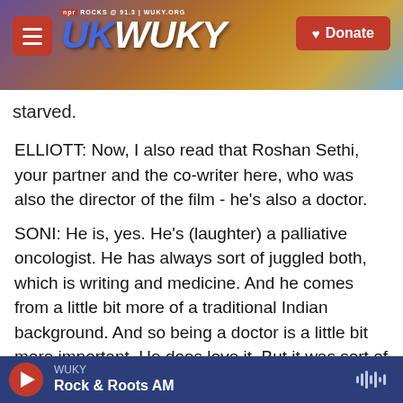[Figure (screenshot): WUKY NPR radio station website header banner with logo, hamburger menu, and Donate button over a sunset landscape background]
starved.
ELLIOTT: Now, I also read that Roshan Sethi, your partner and the co-writer here, who was also the director of the film - he's also a doctor.
SONI: He is, yes. He's (laughter) a palliative oncologist. He has always sort of juggled both, which is writing and medicine. And he comes from a little bit more of a traditional Indian background. And so being a doctor is a little bit more important. He does love it. But it was sort of a nonnegotiable (laughter) that he had to do medicine on top of any other interest he had. But he had this whole break
WUKY / Rock & Roots AM